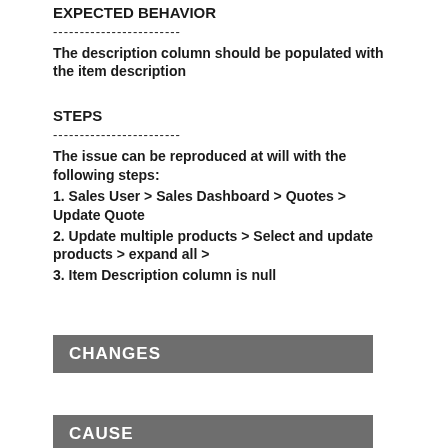EXPECTED BEHAVIOR
------------------------
The description column should be populated with the item description
STEPS
------------------------
The issue can be reproduced at will with the following steps:
1. Sales User > Sales Dashboard > Quotes > Update Quote
2. Update multiple products > Select and update products > expand all >
3. Item Description column is null
CHANGES
CAUSE